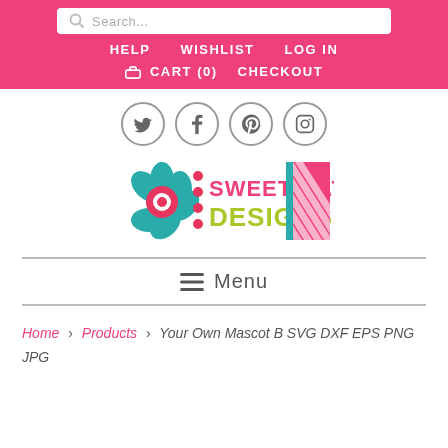Search... | HELP  WISHLIST  LOG IN  | CART (0)  CHECKOUT
[Figure (logo): Social media icons row: Twitter, Facebook, Pinterest, Instagram in circles]
[Figure (logo): Sweet Kate Designs logo with teal flower, dots, green and pink text, striped decoration]
≡ Menu
Home › Products › Your Own Mascot B SVG DXF EPS PNG JPG